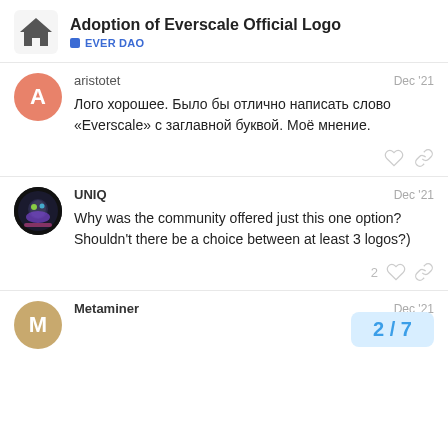Adoption of Everscale Official Logo | EVER DAO
aristotet — Dec '21
Лого хорошее. Было бы отлично написать слово «Everscale» с заглавной буквой. Моё мнение.
UNIQ — Dec '21
Why was the community offered just this one option? Shouldn't there be a choice between at least 3 logos?)
Metaminer — Dec '21